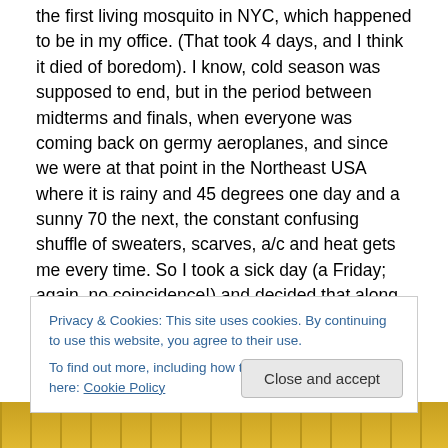the first living mosquito in NYC, which happened to be in my office. (That took 4 days, and I think it died of boredom). I know, cold season was supposed to end, but in the period between midterms and finals, when everyone was coming back on germy aeroplanes, and since we were at that point in the Northeast USA where it is rainy and 45 degrees one day and a sunny 70 the next, the constant confusing shuffle of sweaters, scarves, a/c and heat gets me every time. So I took a sick day (a Friday; again, no coincidence!) and decided that along with rest, tea, and boring movies, I needed some meds.
Privacy & Cookies: This site uses cookies. By continuing to use this website, you agree to their use.
To find out more, including how to control cookies, see here: Cookie Policy
[Figure (photo): Bottom strip showing a partial photo of medicines/remedies including what appears to be a yellow bottle and other items]